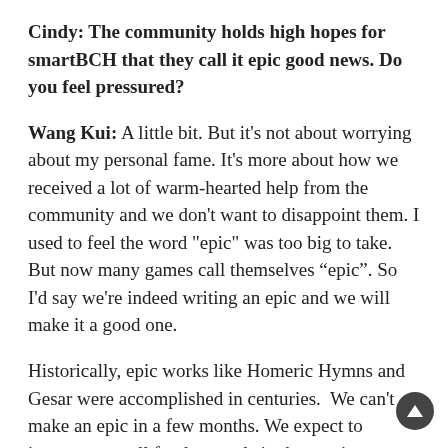Cindy: The community holds high hopes for smartBCH that they call it epic good news. Do you feel pressured?
Wang Kui: A little bit. But it’s not about worrying about my personal fame. It’s more about how we received a lot of warm-hearted help from the community and we don’t want to disappoint them. I used to feel the word "epic" was too big to take. But now many games call themselves “epic”. So I’d say we're indeed writing an epic and we will make it a good one.
Historically, epic works like Homeric Hymns and Gesar were accomplished in centuries.  We can’t make an epic in a few months. We expect to improve overall fundamentals in the coming years and make the project a real hit in the next bull market to serve